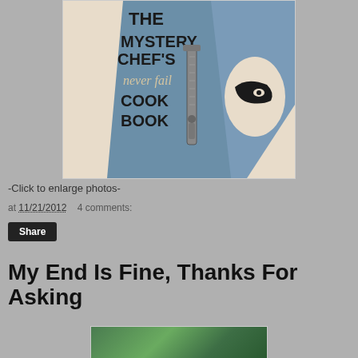[Figure (photo): Book cover of 'The Mystery Chef's never fail Cook Book' with blue and beige design featuring a masked figure and kitchen utensil]
-Click to enlarge photos-
at 11/21/2012   4 comments:
Share
My End Is Fine, Thanks For Asking
[Figure (photo): Partial view of an outdoor scene with green trees/foliage]